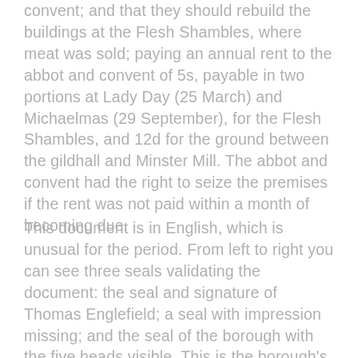convent; and that they should rebuild the buildings at the Flesh Shambles, where meat was sold; paying an annual rent to the abbot and convent of 5s, payable in two portions at Lady Day (25 March) and Michaelmas (29 September), for the Flesh Shambles, and 12d for the ground between the gildhall and Minster Mill. The abbot and convent had the right to seize the premises if the rent was not paid within a month of becoming due.
This document is in English, which is unusual for the period. From left to right you can see three seals validating the document: the seal and signature of Thomas Englefield; a seal with impression missing; and the seal of the borough with the five heads visible. This is the borough's copy of the agreement; the wavy edge at the top is a sign that it was another 'chirograph', with the